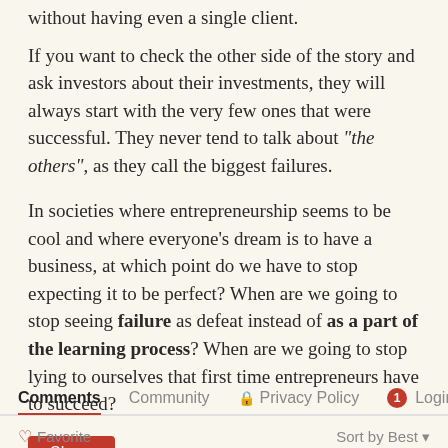without having even a single client.
If you want to check the other side of the story and ask investors about their investments, they will always start with the very few ones that were successful. They never tend to talk about "the others", as they call the biggest failures.
In societies where entrepreneurship seems to be cool and where everyone's dream is to have a business, at which point do we have to stop expecting it to be perfect? When are we going to stop seeing failure as defeat instead of as a part of the learning process? When are we going to stop lying to ourselves that first time entrepreneurs have to succeed?
Share
Comments   Community   Privacy Policy   1  Login   Favorite   Sort by Best